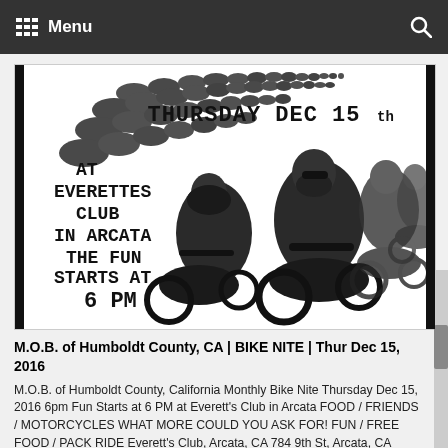Menu
[Figure (illustration): Black and white event flyer showing a large group of motorcyclists riding together. Text reads: THURSDAY DEC 15th AT EVERETTES CLUB IN ARCATA THE FUN STARTS AT 6 PM]
M.O.B. of Humboldt County, CA | BIKE NITE | Thur Dec 15, 2016
M.O.B. of Humboldt County, California Monthly Bike Nite Thursday Dec 15, 2016 6pm Fun Starts at 6 PM at Everett's Club in Arcata FOOD / FRIENDS / MOTORCYCLES WHAT MORE COULD YOU ASK FOR! FUN / FREE FOOD / PACK RIDE Everett's Club, Arcata, CA 784 9th St, Arcata, CA 95521 Google Map: https://goo.gl/maps/3hLyR Print now[…]